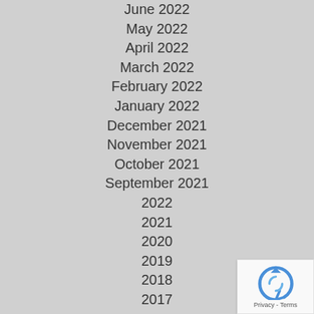June 2022
May 2022
April 2022
March 2022
February 2022
January 2022
December 2021
November 2021
October 2021
September 2021
2022
2021
2020
2019
2018
2017
2016
2015
2014
2013
[Figure (logo): reCAPTCHA badge with Privacy - Terms text]